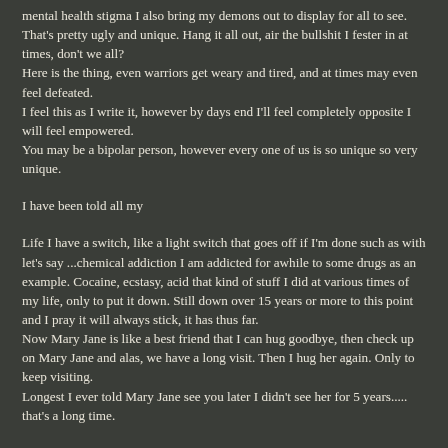mental health stigma I also bring my demons out to display for all to see. That's pretty ugly and unique. Hang it all out, air the bullshit I fester in at times, don't we all?
Here is the thing, even warriors get weary and tired, and at times may even feel defeated.
I feel this as I write it, however by days end I'll feel completely opposite I will feel empowered.
You may be a bipolar person, however every one of us is so unique so very unique.
I have been told all my
Life I have a switch, like a light switch that goes off if I'm done such as with let's say ...chemical addiction I am addicted for awhile to some drugs as an example. Cocaine, ecstasy, acid that kind of stuff I did at various times of my life, only to put it down. Still down over 15 years or more to this point and I pray it will always stick, it has thus far.
Now Mary Jane is like a best friend that I can hug goodbye, then check up on Mary Jane and alas, we have a long visit. Then I hug her again. Only to keep visiting.
Longest I ever told Mary Jane see you later I didn't see her for 5 years..... that's a long time.